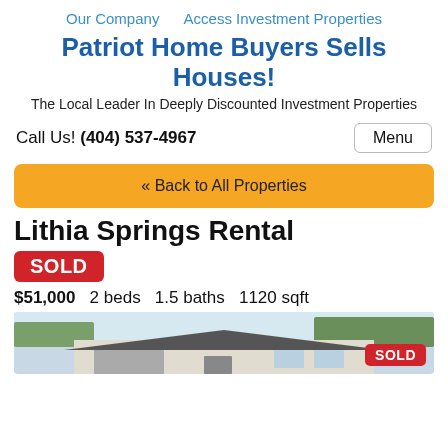Our Company   Access Investment Properties
Patriot Home Buyers Sells Houses!
The Local Leader In Deeply Discounted Investment Properties
Call Us! (404) 537-4967
Menu
« Back to All Properties
Lithia Springs Rental
SOLD
$51,000   2 beds   1.5 baths   1120 sqft
[Figure (photo): Exterior photo of a house with SOLD badge in the lower right corner]